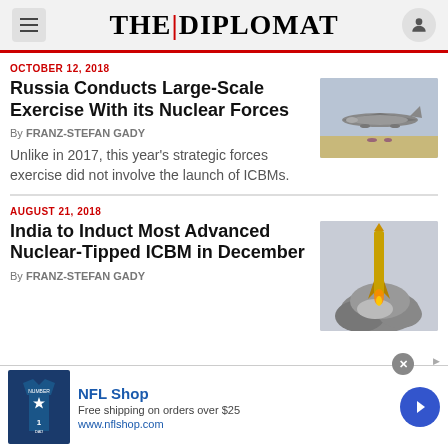THE DIPLOMAT
OCTOBER 12, 2018
Russia Conducts Large-Scale Exercise With its Nuclear Forces
By FRANZ-STEFAN GADY
[Figure (photo): Military aircraft (bomber) on a runway or in flight]
Unlike in 2017, this year’s strategic forces exercise did not involve the launch of ICBMs.
AUGUST 21, 2018
India to Induct Most Advanced Nuclear-Tipped ICBM in December
By FRANZ-STEFAN GADY
[Figure (photo): Missile launch with smoke and explosion cloud]
[Figure (screenshot): Advertisement for NFL Shop showing jersey and free shipping offer]